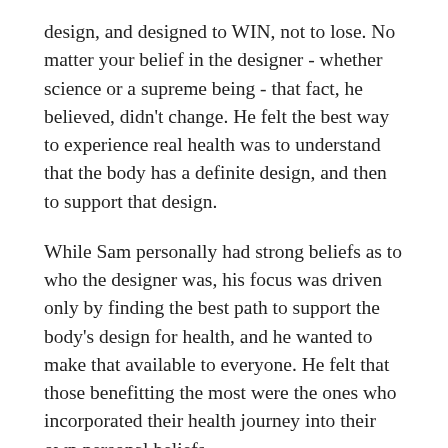design, and designed to WIN, not to lose. No matter your belief in the designer - whether science or a supreme being - that fact, he believed, didn't change. He felt the best way to experience real health was to understand that the body has a definite design, and then to support that design.
While Sam personally had strong beliefs as to who the designer was, his focus was driven only by finding the best path to support the body's design for health, and he wanted to make that available to everyone. He felt that those benefitting the most were the ones who incorporated their health journey into their own personal beliefs.
Sam spent his life researching, studying, and working toward an ideal Health Model, based on all that that was available in scientific literature. He was never afraid to change his opinion as research indicated new